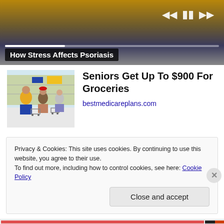[Figure (screenshot): Video player showing a medical video titled 'How Stress Affects Psoriasis' with playback controls (skip back, pause, skip forward) and a progress bar. The background shows a person in yellow clothing.]
How Stress Affects Psoriasis
[Figure (photo): Photo of people shopping in a grocery store, seen from behind, with shopping carts in a large retail store aisle.]
Seniors Get Up To $900 For Groceries
bestmedicareplans.com
Privacy & Cookies: This site uses cookies. By continuing to use this website, you agree to their use.
To find out more, including how to control cookies, see here: Cookie Policy
Close and accept